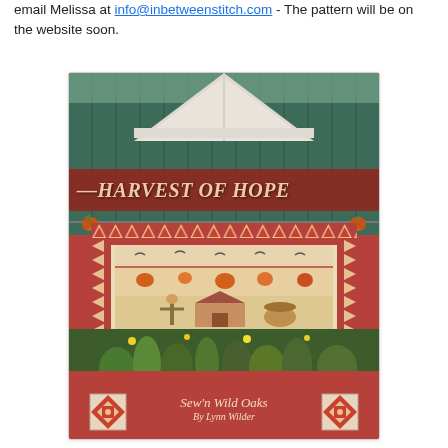email Melissa at info@inbetweenstitch.com - The pattern will be on the website soon.
[Figure (photo): Book cover for 'Harvest of Hope' quilt pattern by Sew'n Wild Oaks, by Lynn Wilder. Shows a decorative harvest-themed quilt hanging on a teal/green barn fence, with the title 'HARVEST OF HOPE' in italic script on a red banner. Below the quilt are garden plants. Bottom shows two star-shaped quilt block decorations flanking the text 'Sew'n Wild Oaks By Lynn Wilder' on a red background.]